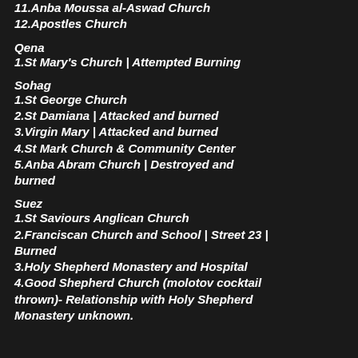11.Anba Moussa al-Aswad Church
12.Apostles Church
Qena
1.St Mary's Church | Attempted Burning
Sohag
1.St George Church
2.St Damiana | Attacked and burned
3.Virgin Mary | Attacked and burned
4.St Mark Church & Community Center
5.Anba Abram Church | Destroyed and burned
Suez
1.St Saviours Anglican Church
2.Franciscan Church and School | Street 23 | Burned
3.Holy Shepherd Monastery and Hospital
4.Good Shepherd Church (molotov cocktail thrown)- Relationship with Holy Shepherd Monastery unknown.